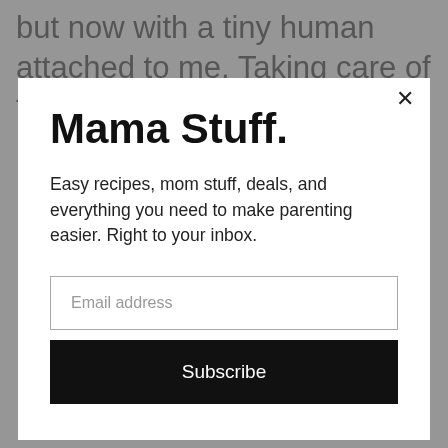but now with a tiny human attached to me. Taking care of the
Mama Stuff.
Easy recipes, mom stuff, deals, and everything you need to make parenting easier. Right to your inbox.
Email address
Subscribe